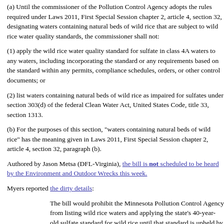(a) Until the commissioner of the Pollution Control Agency adopts the rules required under Laws 2011, First Special Session chapter 2, article 4, section 32, designating waters containing natural beds of wild rice that are subject to wild rice water quality standards, the commissioner shall not:
(1) apply the wild rice water quality standard for sulfate in class 4A waters to any waters, including incorporating the standard or any requirements based on the standard within any permits, compliance schedules, orders, or other control documents; or
(2) list waters containing natural beds of wild rice as impaired for sulfates under section 303(d) of the federal Clean Water Act, United States Code, title 33, section 1313.
(b) For the purposes of this section, "waters containing natural beds of wild rice" has the meaning given in Laws 2011, First Special Session chapter 2, article 4, section 32, paragraph (b).
Authored by Jason Metsa (DFL-Virginia), the bill is not scheduled to be heard by the Environment and Outdoor Wrecks this week.
Myers reported the dirty details:
The bill would prohibit the Minnesota Pollution Control Agency from listing wild rice waters and applying the state's 40-year-old sulfate standard for wild rice until that standard is upheld by a current scientific review and review adopted by the agency.
The bill specifically prevents the PCA from including the 10 parts-per-million sulfate standard to protect wild rice in any industrial permit issued until the ongoing sulfate study and reassessment is complete.
The PCA is nearing the end of a multiyear effort to determine whether...